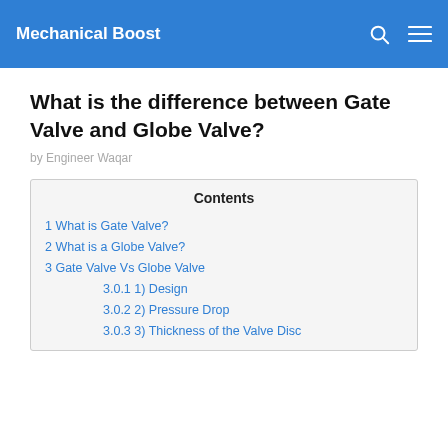Mechanical Boost
What is the difference between Gate Valve and Globe Valve?
by Engineer Waqar
Contents
1 What is Gate Valve?
2 What is a Globe Valve?
3 Gate Valve Vs Globe Valve
3.0.1 1) Design
3.0.2 2) Pressure Drop
3.0.3 3) Thickness of the Valve Disc